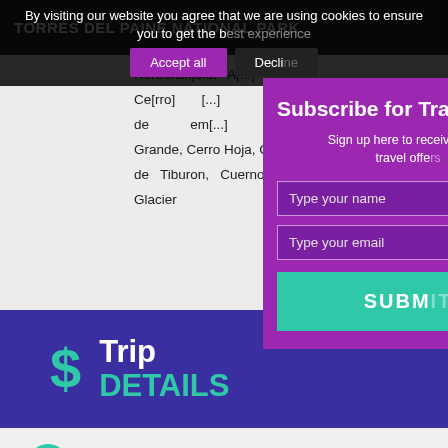TORRES DEL PAINE NATIONAL PARK
Nordenskjold, [text partially obscured]
Ce[rro]... [text partially obscured]
de [text partially obscured] em[...]
Grande, Cerro Hoja, Cer[ro...]
de Tiburon, Cuerno [obscured]
Glacier
By visiting our website you agree that we are using cookies to ensure you to get the best experience
Accept all | Decline
$ Trip DETAILS
Itinerary
Day 1  ROAD FROM PUERTO NATALES TO...
[Figure (screenshot): Subscribe for Travel modal overlay with purple background, name and email input fields, and a teal SUBMIT button]
Subscribe for Tra[vel]
Sign up here to receive great travel offe[rs]